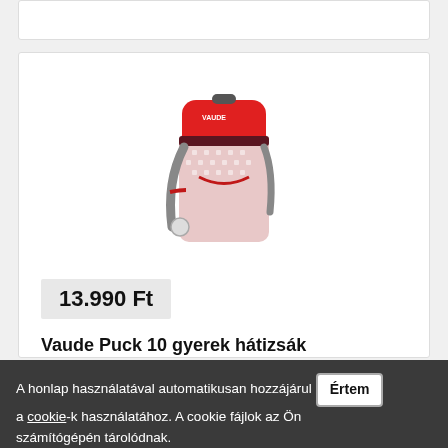[Figure (photo): Red and dark red children's backpack (Vaude Puck 10) shown against white background, with red top compartment, patterned main body, and side whistle attachment]
13.990 Ft
Vaude Puck 10 gyerek hátizsák
A honlap használatával automatikusan hozzájárul Értem a cookie-k használatához. A cookie fájlok az Ön számítógépén tárolódnak.